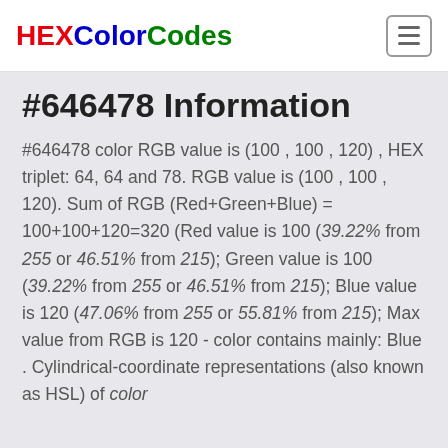HEXColorCodes
#646478 Information
#646478 color RGB value is (100 , 100 , 120) , HEX triplet: 64, 64 and 78. RGB value is (100 , 100 , 120). Sum of RGB (Red+Green+Blue) = 100+100+120=320 (Red value is 100 (39.22% from 255 or 46.51% from 215); Green value is 100 (39.22% from 255 or 46.51% from 215); Blue value is 120 (47.06% from 255 or 55.81% from 215); Max value from RGB is 120 - color contains mainly: Blue . Cylindrical-coordinate representations (also known as HSL) of color